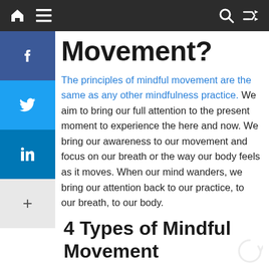Navigation bar with home, menu, search and shuffle icons
Movement?
The principles of mindful movement are the same as any other mindfulness practice. We aim to bring our full attention to the present moment to experience the here and now. We bring our awareness to our movement and focus on our breath or the way our body feels as it moves. When our mind wanders, we bring our attention back to our practice, to our breath, to our body.
4 Types of Mindful Movement
Breathing exercises are different from when…